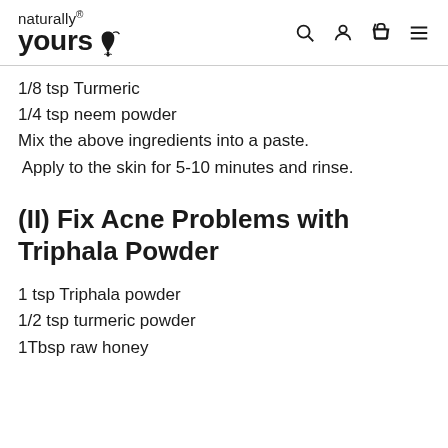naturally yours® (logo with nav icons: search, account, cart, menu)
1/8 tsp Turmeric
1/4 tsp neem powder
Mix the above ingredients into a paste.
Apply to the skin for 5-10 minutes and rinse.
(II) Fix Acne Problems with Triphala Powder
1 tsp Triphala powder
1/2 tsp turmeric powder
1Tbsp raw honey